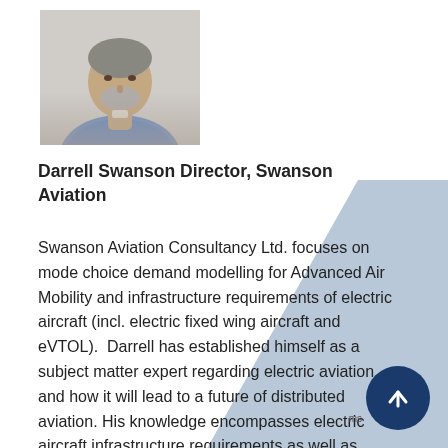[Figure (photo): Headshot photo of Darrell Swanson, a man wearing a blue patterned shirt, with a light background]
Darrell Swanson Director, Swanson Aviation
Swanson Aviation Consultancy Ltd. focuses on mode choice demand modelling for Advanced Air Mobility and infrastructure requirements of electric aircraft (incl. electric fixed wing aircraft and eVTOL).  Darrell has established himself as a subject matter expert regarding electric aviation and how it will lead to a future of distributed aviation. His knowledge encompasses electric aircraft infrastructure requirements as well as defining market opportunities for emerging electric Low Cost Carriers (eLCCs).  He is